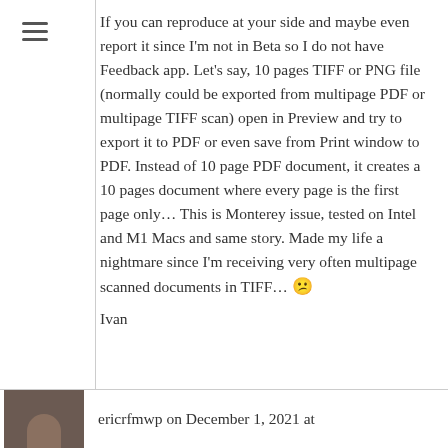If you can reproduce at your side and maybe even report it since I'm not in Beta so I do not have Feedback app. Let's say, 10 pages TIFF or PNG file (normally could be exported from multipage PDF or multipage TIFF scan) open in Preview and try to export it to PDF or even save from Print window to PDF. Instead of 10 page PDF document, it creates a 10 pages document where every page is the first page only… This is Monterey issue, tested on Intel and M1 Macs and same story. Made my life a nightmare since I'm receiving very often multipage scanned documents in TIFF… 😕
Ivan
ericrfmwp on December 1, 2021 at